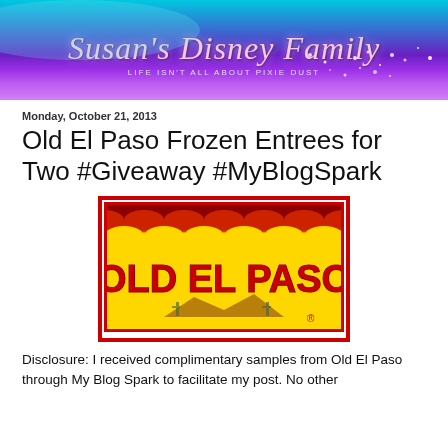[Figure (logo): Susan's Disney Family blog banner — teal-to-purple gradient background with cursive pink text 'Susan's Disney Family' and subtitle 'LIFE ISN'T ALL ABOUT PIXIE DUST']
Monday, October 21, 2013
Old El Paso Frozen Entrees for Two #Giveaway #MyBlogSpark
[Figure (logo): Old El Paso brand logo — yellow background with red tiled roof graphic at top, large red 'OLD EL PASO' lettering, desert mountain silhouette with cacti, red border frame]
Disclosure: I received complimentary samples from Old El Paso through My Blog Spark to facilitate my post. No other compensation has been provided. All opinions are 100% my